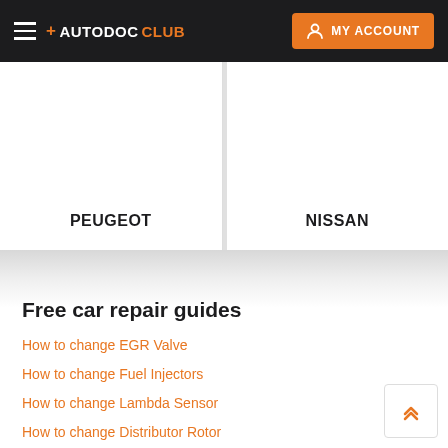+ AUTODOC CLUB  MY ACCOUNT
PEUGEOT
NISSAN
Free car repair guides
How to change EGR Valve
How to change Fuel Injectors
How to change Lambda Sensor
How to change Distributor Rotor
How to change Distributor Cap
How to change Ignition Leads